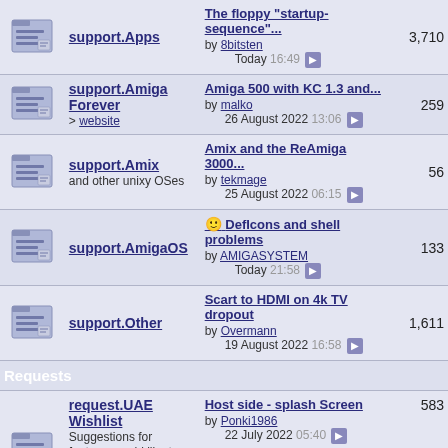support.Apps | The floppy "startup-sequence"... by 8bitsten Today 16:49 | 3,710
support.Amiga Forever > website | Amiga 500 with KC 1.3 and... by malko 26 August 2022 13:06 | 259
support.Amix and other unixy OSes | Amix and the ReAmiga 3000... by tekmage 25 August 2022 06:15 | 56
support.AmigaOS | DefIcons and shell problems by AMIGASYSTEM Today 21:58 | 133
support.Other | Scart to HDMI on 4k TV dropout by Overmann 19 August 2022 16:58 | 1,611
Requests
request.UAE Wishlist Suggestions for features you'd like to see in UAE/WinUAE. No bug reports here please! | Host side - splash Screen by Ponki1986 22 July 2022 05:40 | 583
request.Old Rare Games | Three games cracked by... by wizard1 23 August 2022 16:33 | 4,064